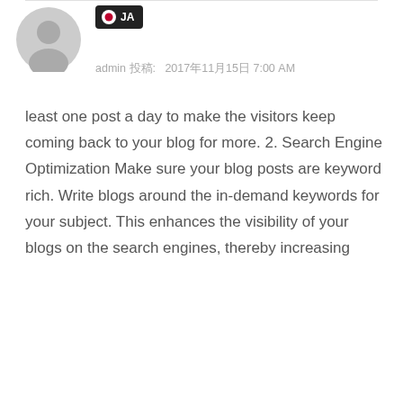admin 投稿:   2017年11月15日 7:00 AM
least one post a day to make the visitors keep coming back to your blog for more. 2. Search Engine Optimization Make sure your blog posts are keyword rich. Write blogs around the in-demand keywords for your subject. This enhances the visibility of your blogs on the search engines, thereby increasing
返信
admin 投稿:   2017年11月15日 9:49 AM